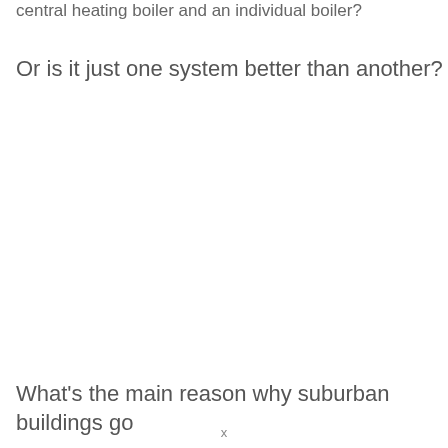central heating boiler and an individual boiler?
Or is it just one system better than another?
What's the main reason why suburban buildings go
x